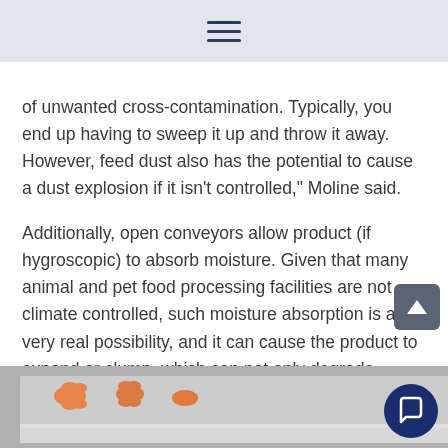of unwanted cross-contamination. Typically, you end up having to sweep it up and throw it away. However, feed dust also has the potential to cause a dust explosion if it isn’t controlled,” Moline said.
Additionally, open conveyors allow product (if hygroscopic) to absorb moisture. Given that many animal and pet food processing facilities are not climate controlled, such moisture absorption is a very real possibility, and it can cause the product to expand or clump, which can not only degrade quality but also make conveyor cleanup more difficult.
[Figure (photo): Photo of pet food bone-shaped treats on a conveyor tray in a food processing facility]